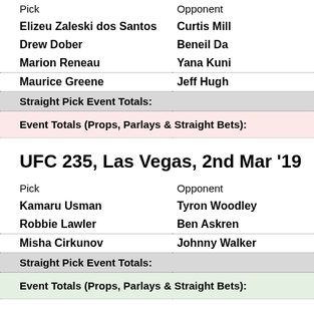| Pick | Opponent |
| --- | --- |
| Elizeu Zaleski dos Santos | Curtis Mill... |
| Drew Dober | Beneil Da... |
| Marion Reneau | Yana Kuni... |
| Maurice Greene | Jeff Hugh... |
| Straight Pick Event Totals: |  |
| Event Totals (Props, Parlays & Straight Bets): |  |
UFC 235, Las Vegas, 2nd Mar '19
| Pick | Opponent |
| --- | --- |
| Kamaru Usman | Tyron Woodley |
| Robbie Lawler | Ben Askren |
| Misha Cirkunov | Johnny Walker |
| Straight Pick Event Totals: |  |
| Event Totals (Props, Parlays & Straight Bets): |  |